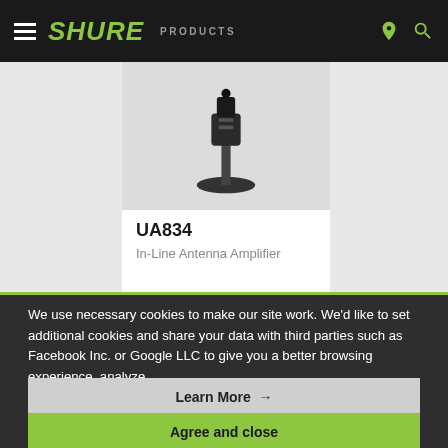SHURE   PRODUCTS
[Figure (photo): Shure UA834 In-Line Antenna Amplifier product photo on gray background]
UA834
In-Line Antenna Amplifier
We use necessary cookies to make our site work. We'd like to set additional cookies and share your data with third parties such as Facebook Inc. or Google LLC to give you a better browsing experience, analyze
Learn More →
Agree and close